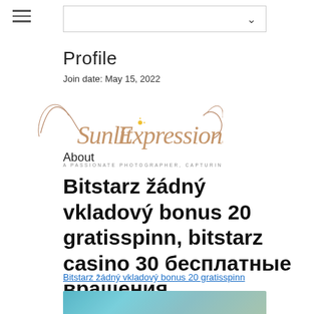Profile
Join date: May 15, 2022
[Figure (logo): Sunlit Expressions - A passionate photographer, capturing every expression]
About
Bitstarz žádný vkladový bonus 20 gratisspinn, bitstarz casino 30 бесплатные вращения
Bitstarz žádný vkladový bonus 20 gratisspinn
[Figure (photo): Blurred teal/blue-green background image at the bottom of the page]